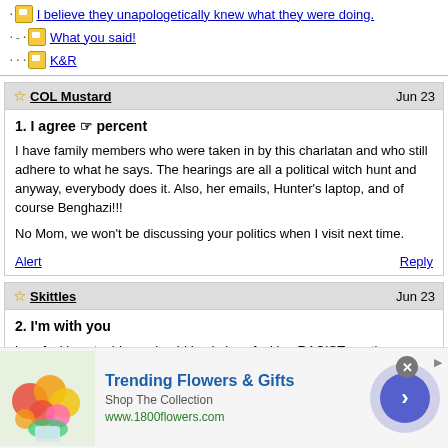I believe they unapologetically knew what they were doing.
What you said!
K&R
COL Mustard — Jun 23
1. I agree ☞ percent

I have family members who were taken in by this charlatan and who still adhere to what he says. The hearings are all a political witch hunt and anyway, everybody does it. Also, her emails, Hunter's laptop, and of course Benghazi!!!

No Mom, we won't be discussing your politics when I visit next time.
Skittles — Jun 23
2. I'm with you

how fucking stupid - or should I ask, how fucking RACIST are these assholes?
[Figure (screenshot): Advertisement for 1800flowers.com: Trending Flowers & Gifts, Shop The Collection, www.1800flowers.com, with a floral arrangement image and navigation arrow button.]